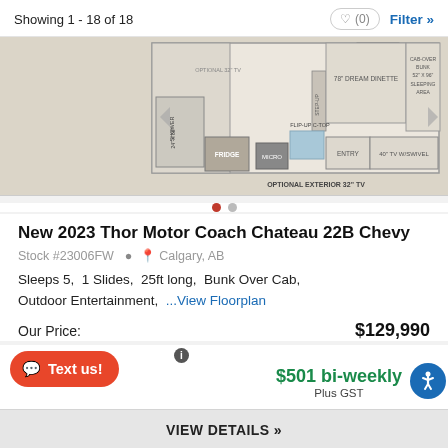Showing 1 - 18 of 18
[Figure (illustration): RV floorplan diagram for Thor Motor Coach Chateau 22B showing layout with optional 32" TV, pantry, 78" dream dinette, cab-over bunk 52"x96" sleeping area, shower 24"x36", fridge, step-up, flip-up C-top, micro, entry, 40" TV w/swivel, optional exterior 32" TV]
New 2023 Thor Motor Coach Chateau 22B Chevy
Stock #23006FW  Calgary, AB
Sleeps 5,  1 Slides,  25ft long,  Bunk Over Cab,  Outdoor Entertainment,  ...View Floorplan
Our Price:  $129,990
$501 bi-weekly Plus GST
VIEW DETAILS »